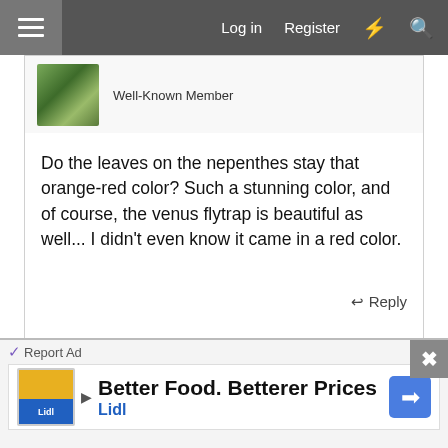Log in  Register
Well-Known Member
Do the leaves on the nepenthes stay that orange-red color? Such a stunning color, and of course, the venus flytrap is beautiful as well... I didn't even know it came in a red color.
Reply
Jul 27, 2006  #5
Heather
Administrator
Ahh, that's the drosera I have! They get "large"! Watch
Report Ad
Better Food. Betterer Prices
Lidl